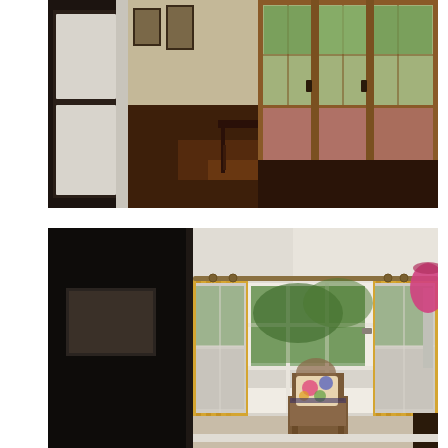[Figure (photo): Interior hallway/corridor with hardwood floors, white paneled door on left, framed pictures on wall, dark wood console table in middle, and a window-lined wall on the right with wood framing and garden/foliage visible outside.]
[Figure (photo): Interior room with bay window featuring white frames and yellow/gold curtains on a curved rod. A wooden chair with a floral pillow sits in front of the window. Green trees visible through window. A pink lamp on the far right. Dark paneled door on the left, framed artwork on dark wall.]